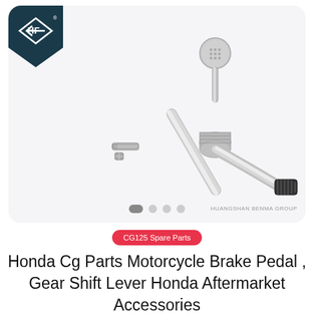[Figure (photo): Chrome motorcycle gear shift lever / brake pedal with black rubber grip at one end and a round textured metal ball at the top, shown with a bolt and nut. HF watermark logo overlaid on the product. Set against a light grey rounded-corner card background. Huangshan Benma Group text in bottom-right corner.]
CG125 Spare Parts
Honda Cg Parts Motorcycle Brake Pedal , Gear Shift Lever Honda Aftermarket Accessories